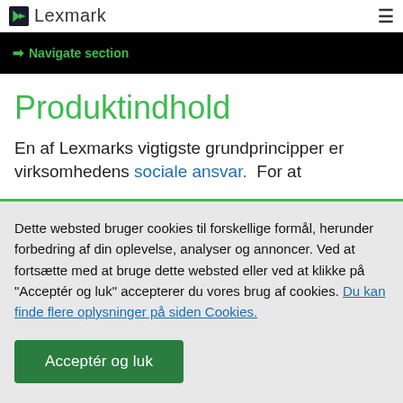Lexmark
→ Navigate section
Produktindhold
En af Lexmarks vigtigste grundprincipper er virksomhedens sociale ansvar.  For at
Dette websted bruger cookies til forskellige formål, herunder forbedring af din oplevelse, analyser og annoncer. Ved at fortsætte med at bruge dette websted eller ved at klikke på "Acceptér og luk" accepterer du vores brug af cookies. Du kan finde flere oplysninger på siden Cookies.
Acceptér og luk